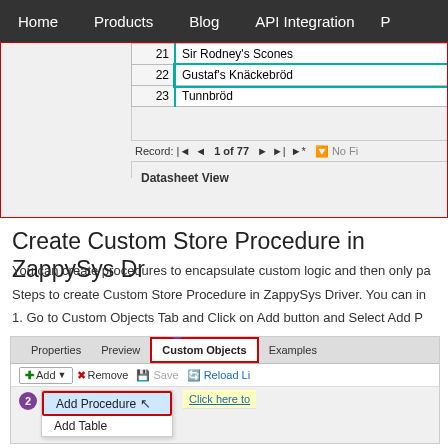Home   Products   Blog   API Integration   P
[Figure (screenshot): Datasheet view showing database records: 21 Sir Rodney's Scones, 22 Gustaf's Knäckebröd, 23 Tunnbröd with record navigator showing 1 of 77]
Create Custom Store Procedure in ZappySys Dr
You can create procedures to encapsulate custom logic and then only pa
Steps to create Custom Store Procedure in ZappySys Driver. You can in
1. Go to Custom Objects Tab and Click on Add button and Select Add P
[Figure (screenshot): ZappySys Driver UI showing Custom Objects tab highlighted with step 1 circle, Add dropdown menu expanded with step 2 circle next to Add Procedure option highlighted in red border, Add Table option below, and Click here to link on right]